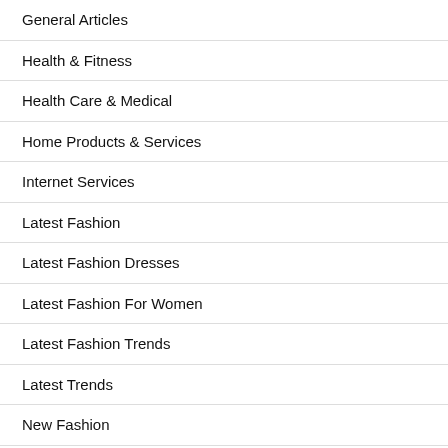General Articles
Health & Fitness
Health Care & Medical
Home Products & Services
Internet Services
Latest Fashion
Latest Fashion Dresses
Latest Fashion For Women
Latest Fashion Trends
Latest Trends
New Fashion
New Style Dress
Online Fashion Store
Personal Product & Services